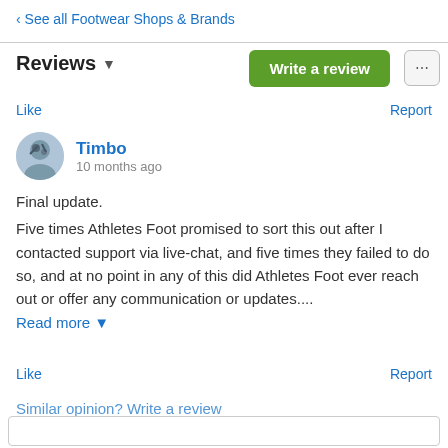‹ See all Footwear Shops & Brands
Reviews ▾
Write a review
Like
Report
Timbo
10 months ago
Final update.

Five times Athletes Foot promised to sort this out after I contacted support via live-chat, and five times they failed to do so, and at no point in any of this did Athletes Foot ever reach out or offer any communication or updates....
Read more ▾
Like
Report
Similar opinion? Write a review